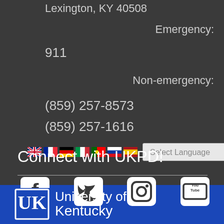Lexington, KY 40508
Emergency: 911
Non-emergency: (859) 257-8573 (859) 257-1616
[Figure (infographic): Row of country flag icons (UK, France, Germany, Italy, Portugal, Russia, Spain) followed by a 'Select Language' dropdown selector]
Connect with UKPD!
[Figure (infographic): Four social media icons in a row: Facebook, Twitter, Instagram, YouTube]
[Figure (logo): University of Kentucky logo with interlocking UK letters and text 'University of Kentucky']